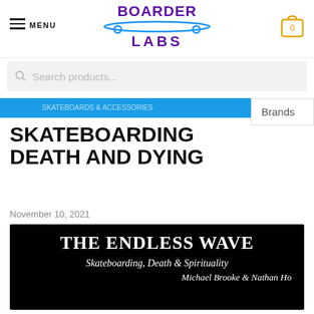BOARDER LABS — MENU — Cart: 0
Search products...
SKATEBOARDING DEATH AND DYING
November 10, 2021
[Figure (illustration): Book cover banner on black background: 'THE ENDLESS WAVE — Skateboarding, Death & Spirituality — Michael Brooke & Nathan Ho']